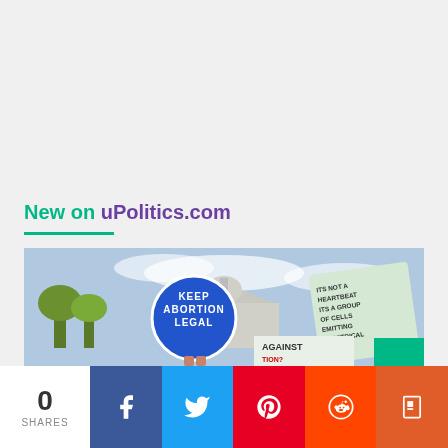New on uPolitics.com
[Figure (photo): Protesters outside the US Capitol building holding signs including a circular blue sign reading KEEP ABORTION LEGAL and a handwritten sign reading ITS NOT A HEARTBEAT ITS A GROUP OF CELLS EMITTING ELECTRICAL SIGNALS, with another sign visible reading AGAINST ABORTION?]
0 SHARES
[Figure (infographic): Social media share bar with Facebook, Twitter, Pinterest, Reddit, and Flipboard buttons]